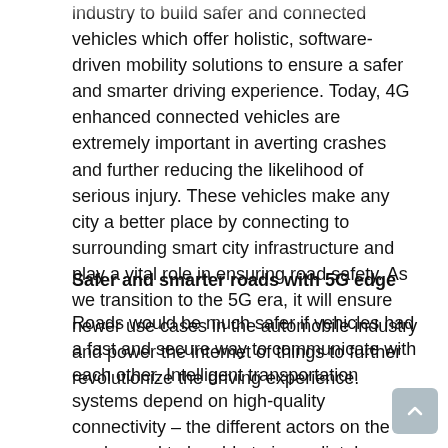technology, has become a crucial element in the automobile industry to build safer and connected vehicles which offer holistic, software-driven mobility solutions to ensure a safer and smarter driving experience. Today, 4G enhanced connected vehicles are extremely important in averting crashes and further reducing the likelihood of serious injury. These vehicles make any city a better place by connecting to surrounding smart city infrastructure and play a vital role in ensuring road safety. As we transition to the 5G era, it will ensure newer use cases in the automobile industry and power the internet of things to further revolutionize the driving experience.
Safer and smarter roads with 5G edge
Roads would be much safer if vehicles had a fast and secure way to communicate with each other. Intelligent transportation systems depend on high-quality connectivity – the different actors on the roads need to be able to immediately communicate with each other and